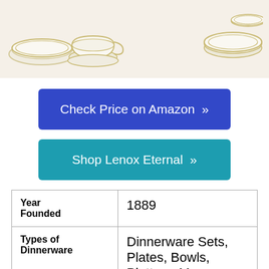[Figure (photo): Lenox dinnerware product images showing plates and teacups with gold trim on white/cream background]
Check Price on Amazon »
Shop Lenox Eternal »
| Year Founded | 1889 |
| Types of Dinnerware | Dinnerware Sets, Plates, Bowls, Platters, Mugs, Cups, and Saucers |